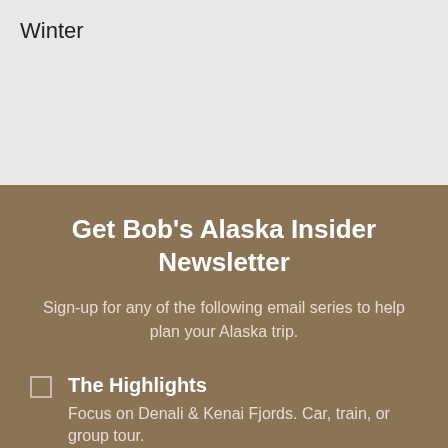Winter
Get Bob's Alaska Insider Newsletter
Sign-up for any of the following email series to help plan your Alaska trip.
The Highlights — Focus on Denali & Kenai Fjords. Car, train, or group tour.
Winter Escape